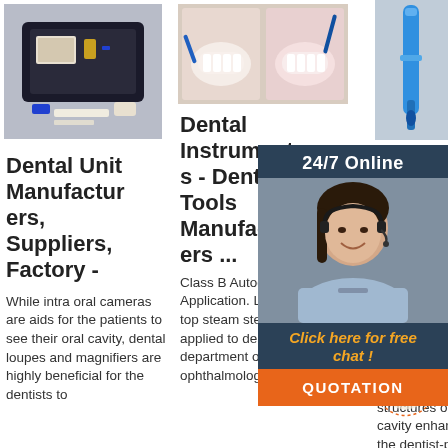[Figure (photo): Dental unit kit in black case with instruments]
Dental Unit Manufacturers, Suppliers, Factory -
While intra oral cameras are aids for the patients to see their oral cavity, dental loupes and magnifiers are highly beneficial for the dentists to
[Figure (photo): Dental tools illustration showing teeth and dental instruments]
Dental Instruments - Dental Tools Manufacturers ...
Class B Autoclave . Application. LAOKEN bench top steam sterilizers can be applied to dental clinics, dental department of hospitals, ophthalmology
[Figure (photo): Blue dental handpiece/drill tool]
[Figure (photo): Customer service agent woman with headset smiling - 24/7 Online chat overlay]
Dental Equipment - Buy Dental Clinic Lab
ENHANCE DENTIST PATIENT RELATIONSHIP. Detailed view of structures of oral cavity enhances the dentist-patient